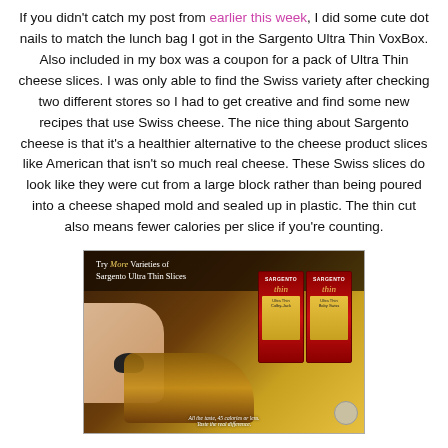If you didn't catch my post from earlier this week, I did some cute dot nails to match the lunch bag I got in the Sargento Ultra Thin VoxBox. Also included in my box was a coupon for a pack of Ultra Thin cheese slices. I was only able to find the Swiss variety after checking two different stores so I had to get creative and find some new recipes that use Swiss cheese. The nice thing about Sargento cheese is that it's a healthier alternative to the cheese product slices like American that isn't so much real cheese. These Swiss slices do look like they were cut from a large block rather than being poured into a cheese shaped mold and sealed up in plastic. The thin cut also means fewer calories per slice if you're counting.
[Figure (photo): A hand holding a Sargento Ultra Thin cheese advertisement/coupon showing two red packages of Sargento Ultra Thin slices, sandwiches, and the text 'Try More Varieties of Sargento Ultra Thin Slices' and 'All the taste, 45 calories or less. Taste the real difference.']